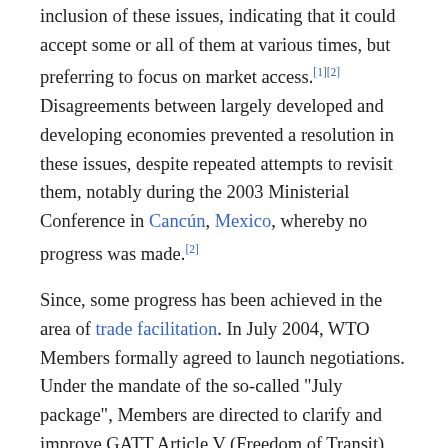inclusion of these issues, indicating that it could accept some or all of them at various times, but preferring to focus on market access.[1][2] Disagreements between largely developed and developing economies prevented a resolution in these issues, despite repeated attempts to revisit them, notably during the 2003 Ministerial Conference in Cancún, Mexico, whereby no progress was made.[2]
Since, some progress has been achieved in the area of trade facilitation. In July 2004, WTO Members formally agreed to launch negotiations. Under the mandate of the so-called "July package", Members are directed to clarify and improve GATT Article V (Freedom of Transit), Article VIII (Fees and Formalities connected with Importation and Exportation), and Article X (Publication and Administration of Trade Regulations). The negotiations also aim to enhance technical assistance and capacity building in this